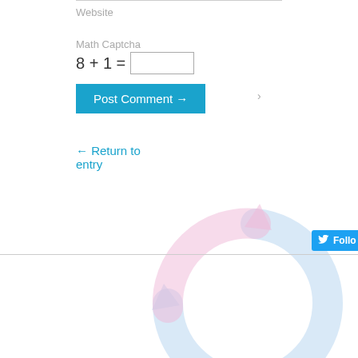Website
Math Captcha
Post Comment →
← Return to entry
[Figure (illustration): Decorative background with a light blue crescent moon shape on the left and overlapping circular arrows in light blue and pink on the lower right]
Follo
Copyright © 2022
Powered by Oxygen Theme.